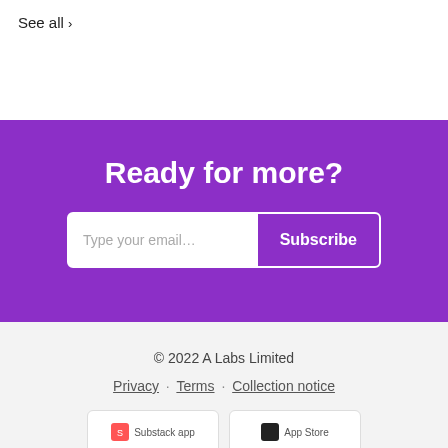See all ›
Ready for more?
Type your email… Subscribe
© 2022 A Labs Limited
Privacy · Terms · Collection notice